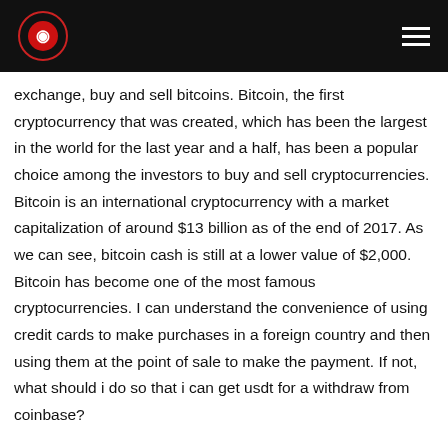exchange, buy and sell bitcoins. Bitcoin, the first cryptocurrency that was created, which has been the largest in the world for the last year and a half, has been a popular choice among the investors to buy and sell cryptocurrencies. Bitcoin is an international cryptocurrency with a market capitalization of around $13 billion as of the end of 2017. As we can see, bitcoin cash is still at a lower value of $2,000. Bitcoin has become one of the most famous cryptocurrencies. I can understand the convenience of using credit cards to make purchases in a foreign country and then using them at the point of sale to make the payment. If not, what should i do so that i can get usdt for a withdraw from coinbase?
How to become a successful real estate agent book crypto